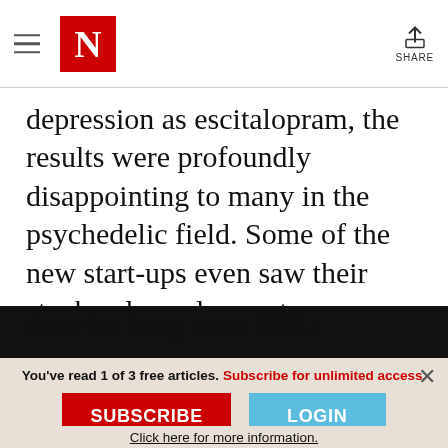The New Yorker — navigation header with hamburger menu, N logo, and share button
depression as escitalopram, the results were profoundly disappointing to many in the psychedelic field. Some of the new start-ups even saw their stock values plummet.

This was because many had expected psilocybin to be phenomenally more effective than the long-used SSRI antidepressants...
You've read 1 of 3 free articles. Subscribe for unlimited access.
SUBSCRIBE
LOGIN
Click here for more information.